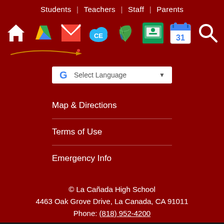Students | Teachers | Staff | Parents
[Figure (screenshot): Icon toolbar with: Home, Google Drive, Gmail, cloud/CE app, leaf/nature app, Google Classroom, Google Calendar (31), and Search icons on dark red background]
[Figure (screenshot): Google Translate widget: G logo, Select Language label, dropdown arrow]
Map & Directions
Terms of Use
Emergency Info
© La Cañada High School
4463 Oak Grove Drive, La Canada, CA 91011
Phone: (818) 952-4200
Powered by edlio